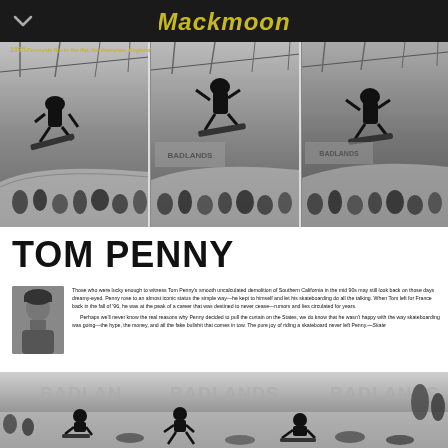Mackmoon (logo/brand header)
[Figure (photo): Black and white sequence of three skateboarding photos showing a skater performing a frontside flip to the flat, taken at Northampton, England in 1995. Indoor skate park with spectators visible in background.]
1995 Frontside flip to the flat, Northampton, England.
TOM PENNY
[Figure (photo): Small portrait photo of Tom Penny wearing a beanie hat, black and white.]
Those who were lucky enough to witness Tom Penny's smooth uncalculated demolition of Southern California in the mid 90s may still look back on those days dreamy-eyed. Penny rose to an almost iconic status the simple way—he kept to himself and let his skateboarding do all the talking. When Tom left for France back in the fall of '96, he was at the peak of a career that was destined to never cease—rumors and lies circulated for years.
    Perhaps we'll never know the real reasons why Penny decided to pull the curtain on the States, we do know that he wasn't happy with the way skateboarding was going—the hype, the money, and all the fake bullshit that comes in tow. The pure joy of riding a skateboard never left Penny. —Skate
[Figure (photo): Black and white photograph of a skateboarding contest or session at an indoor park, showing multiple skaters in various positions, with Badlands logos visible in the background. Spectators lined up along the sides.]